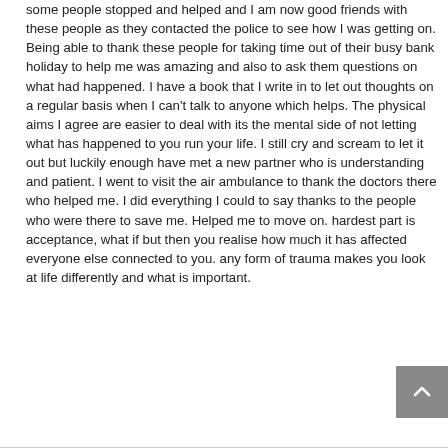some people stopped and helped and I am now good friends with these people as they contacted the police to see how I was getting on. Being able to thank these people for taking time out of their busy bank holiday to help me was amazing and also to ask them questions on what had happened. I have a book that I write in to let out thoughts on a regular basis when I can't talk to anyone which helps. The physical aims I agree are easier to deal with its the mental side of not letting what has happened to you run your life. I still cry and scream to let it out but luckily enough have met a new partner who is understanding and patient. I went to visit the air ambulance to thank the doctors there who helped me. I did everything I could to say thanks to the people who were there to save me. Helped me to move on. hardest part is acceptance, what if but then you realise how much it has affected everyone else connected to you. any form of trauma makes you look at life differently and what is important.